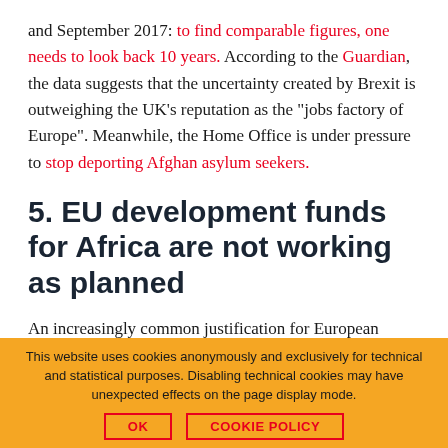and September 2017: to find comparable figures, one needs to look back 10 years. According to the Guardian, the data suggests that the uncertainty created by Brexit is outweighing the UK's reputation as the "jobs factory of Europe". Meanwhile, the Home Office is under pressure to stop deporting Afghan asylum seekers.
5. EU development funds for Africa are not working as planned
An increasingly common justification for European development assistance to Africa is the notion that it will reduce migration from the South. While this sounds
This website uses cookies anonymously and exclusively for technical and statistical purposes. Disabling technical cookies may have unexpected effects on the page display mode.